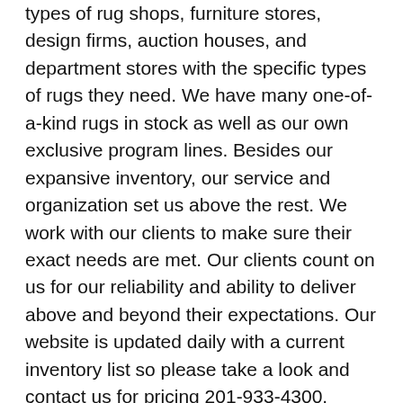types of rug shops, furniture stores, design firms, auction houses, and department stores with the specific types of rugs they need. We have many one-of-a-kind rugs in stock as well as our own exclusive program lines. Besides our expansive inventory, our service and organization set us above the rest. We work with our clients to make sure their exact needs are met. Our clients count on us for our reliability and ability to deliver above and beyond their expectations. Our website is updated daily with a current inventory list so please take a look and contact us for pricing 201-933-4300.
| THE INVENTORY | COLORS | DIMENSIONS |
| --- | --- | --- |
9,151 RESULTS
[Figure (other): Green checkmark icon]